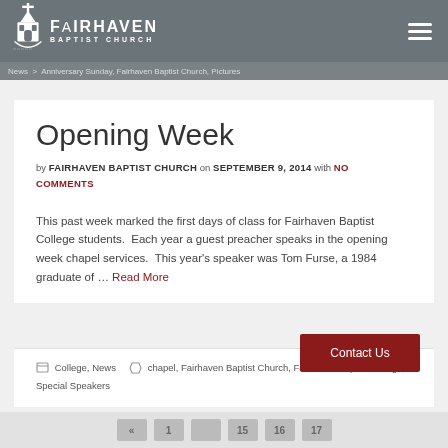FAIRHAVEN BAPTIST CHURCH — Anniversary Sunday, Fairhaven Baptist Church, Pictures
Opening Week
by FAIRHAVEN BAPTIST CHURCH on SEPTEMBER 9, 2014 with NO COMMENTS
This past week marked the first days of class for Fairhaven Baptist College students.  Each year a guest preacher speaks in the opening week chapel services.  This year's speaker was Tom Furse, a 1984 graduate of … Read More
College, News   chapel, Fairhaven Baptist Church, Fairhaven Baptist College, Special Speakers